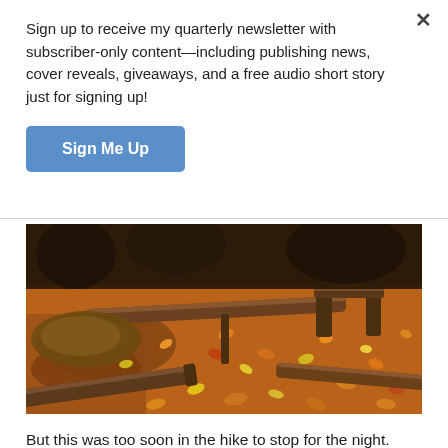Sign up to receive my quarterly newsletter with subscriber-only content—including publishing news, cover reveals, giveaways, and a free audio short story just for signing up!
Sign Me Up
[Figure (photo): Autumn forest floor covered in orange and yellow fallen leaves, with several weathered logs and wooden fence posts scattered across the scene.]
But this was too soon in the hike to stop for the night. There was another set of creeks (unnamed, but very clearly on the map as squiggly blue lines)